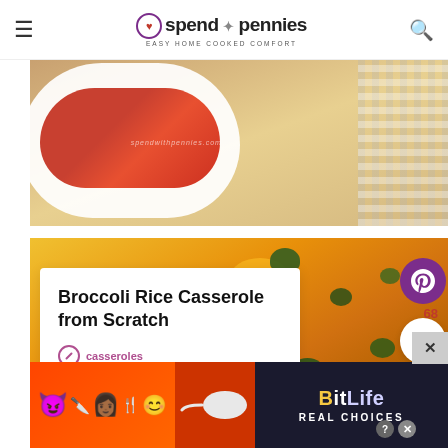spend with pennies — EASY HOME COOKED COMFORT
[Figure (photo): Close-up overhead photo of a white casserole dish on a wooden table with a checkered cloth, partially visible food inside]
[Figure (photo): Close-up of broccoli rice casserole covered in melted orange cheese with green broccoli florets]
Broccoli Rice Casserole from Scratch
casseroles
[Figure (screenshot): Advertisement banner for BitLife Real Choices mobile game with emoji characters]